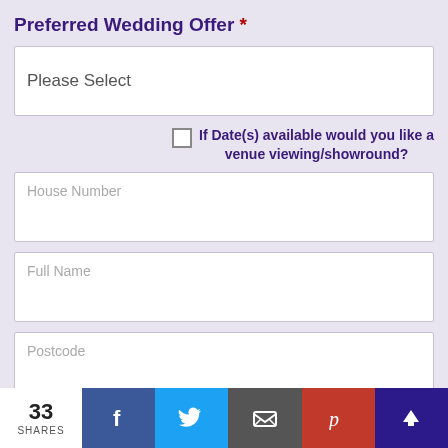Preferred Wedding Offer *
Please Select
If Date(s) available would you like a venue viewing/showround?
Full Name
House Number
Postcode
33 SHARES | Facebook | Twitter | Email | Pinterest | Upload